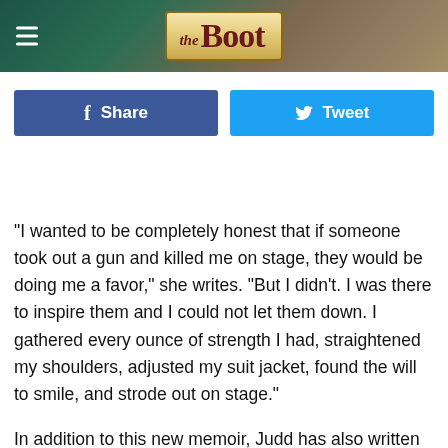[Figure (logo): The Boot website logo — 'the Boot' in dark red serif font on a tan/gold banner background, with a hamburger menu icon and dark teal/brown textured background]
Share
Tweet
"I wanted to be completely honest that if someone took out a gun and killed me on stage, they would be doing me a favor," she writes. "But I didn't. I was there to inspire them and I could not let them down. I gathered every ounce of strength I had, straightened my shoulders, adjusted my suit jacket, found the will to smile, and strode out on stage."
In addition to this new memoir, Judd has also written two self-help books, two children's books, one cookbook and a 1993 autobiography, Sam Daily Bridge. Of course, and a